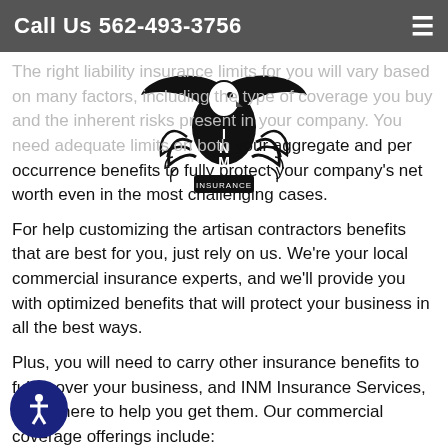Call Us 562-493-3756
[Figure (logo): INM Insurance Services logo with eagle and laurel wreath]
The right liability insurance limits for you will vary based on many factors, including the type of coverage you buy and the inherent risks present in your company. You need adequate limits on both your aggregate and per occurrence benefits to fully protect your company’s net worth even in the most challenging cases.
For help customizing the artisan contractors benefits that are best for you, just rely on us. We’re your local commercial insurance experts, and we’ll provide you with optimized benefits that will protect your business in all the best ways.
Plus, you will need to carry other insurance benefits to fully cover your business, and INM Insurance Services, Inc. is here to help you get them. Our commercial coverage offerings include: